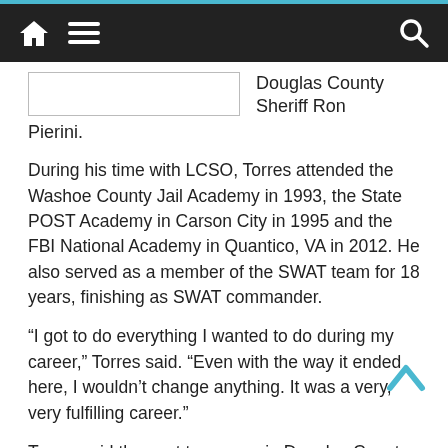[navigation bar with home, menu, search icons]
Douglas County Sheriff Ron Pierini.
During his time with LCSO, Torres attended the Washoe County Jail Academy in 1993, the State POST Academy in Carson City in 1995 and the FBI National Academy in Quantico, VA in 2012. He also served as a member of the SWAT team for 18 years, finishing as SWAT commander.
“I got to do everything I wanted to do during my career,” Torres said. “Even with the way it ended here, I wouldn’t change anything. It was a very, very fulfilling career.”
Torres said the past two years in Douglas County